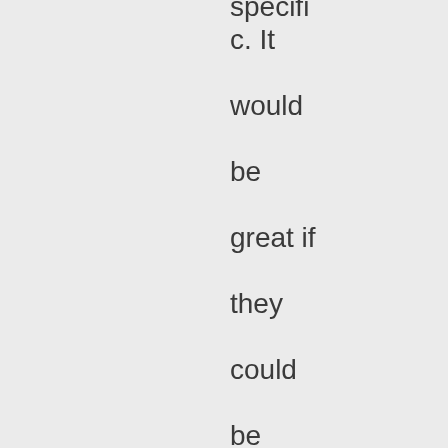specific. It would be great if they could be unleashed on the ABC masters, particularly th...